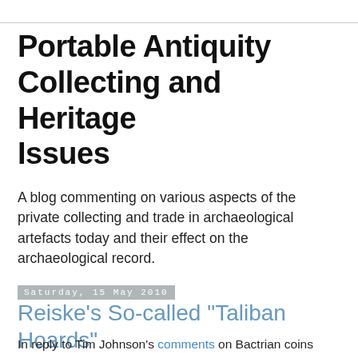Portable Antiquity Collecting and Heritage Issues
A blog commenting on various aspects of the private collecting and trade in archaeological artefacts today and their effect on the archaeological record.
Saturday, 15 May 2010
Reiske's So-called "Taliban Hoards"
In reply to Tim Johnson's comments on Bactrian coins being more common on the US market as a result of the activities connected with the Soviet invasion and civil war, coin collecting archaeologist John Rieske writes on Moneta-L:

Not long after the Taliban's violent takeover of